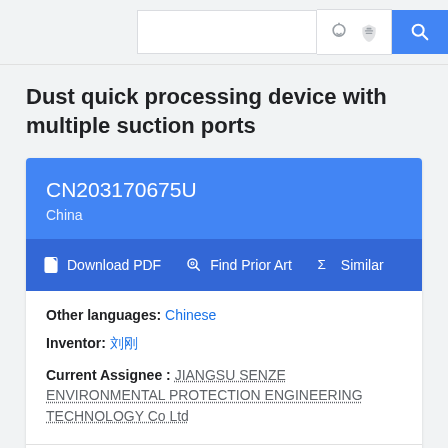Search bar with icons
Dust quick processing device with multiple suction ports
CN203170675U
China
Download PDF  Find Prior Art  Similar
Other languages: Chinese
Inventor: 刘刚
Current Assignee : JIANGSU SENZE ENVIRONMENTAL PROTECTION ENGINEERING TECHNOLOGY Co Ltd
Worldwide applications